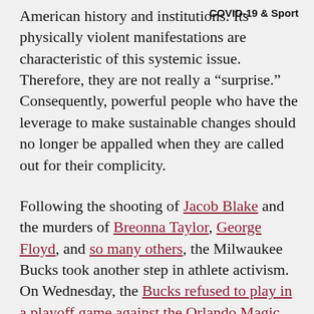COVID-19 & Sport
American history and institutions. Its physically violent manifestations are characteristic of this systemic issue. Therefore, they are not really a “surprise.” Consequently, powerful people who have the leverage to make sustainable changes should no longer be appalled when they are called out for their complicity.
Following the shooting of Jacob Blake and the murders of Breonna Taylor, George Floyd, and so many others, the Milwaukee Bucks took another step in athlete activism. On Wednesday, the Bucks refused to play in a playoff game against the Orlando Magic. Instead, they spent time speaking with the state’s lieutenant governor and attorney